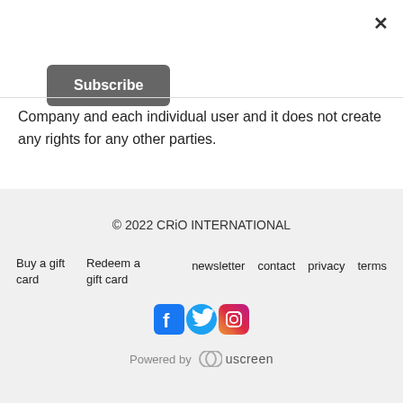×
Subscribe
Company and each individual user and it does not create any rights for any other parties.
© 2022 CRiO INTERNATIONAL
Buy a gift card
Redeem a gift card
newsletter
contact
privacy
terms
[Figure (logo): Social media icons: Facebook (blue), Twitter (blue bird), Instagram (colorful)]
Powered by uscreen